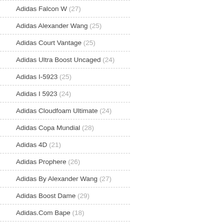Adidas Falcon W (27)
Adidas Alexander Wang (25)
Adidas Court Vantage (25)
Adidas Ultra Boost Uncaged (24)
Adidas I-5923 (25)
Adidas I 5923 (24)
Adidas Cloudfoam Ultimate (24)
Adidas Copa Mundial (28)
Adidas 4D (21)
Adidas Prophere (26)
Adidas By Alexander Wang (27)
Adidas Boost Dame (29)
Adidas.Com Bape (18)
Adidas Sko Hvide (30)
Adidas Sko Originals (27)